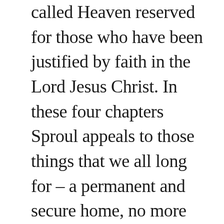called Heaven reserved for those who have been justified by faith in the Lord Jesus Christ. In these four chapters Sproul appeals to those things that we all long for – a permanent and secure home, no more pain, and perfect relationships with others and with our Lord Jesus Christ.